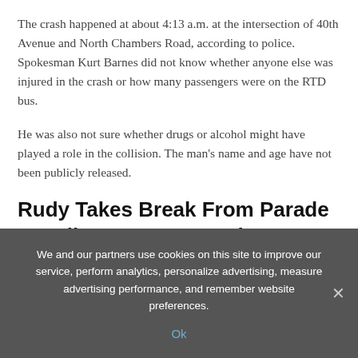The crash happened at about 4:13 a.m. at the intersection of 40th Avenue and North Chambers Road, according to police. Spokesman Kurt Barnes did not know whether anyone else was injured in the crash or how many passengers were on the RTD bus.
He was also not sure whether drugs or alcohol might have played a role in the collision. The man's name and age have not been publicly released.
Rudy Takes Break From Parade to Yell at Stranger on the Street
Not content with limiting his wild and outrageous political views to his podcast, Rudy Giuliani got into a screaming match
We and our partners use cookies on this site to improve our service, perform analytics, personalize advertising, measure advertising performance, and remember website preferences.